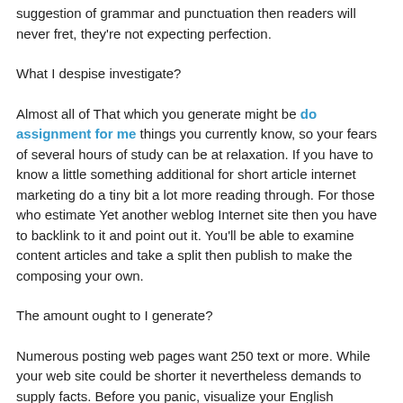suggestion of grammar and punctuation then readers will never fret, they're not expecting perfection.
What I despise investigate?
Almost all of That which you generate might be do assignment for me things you currently know, so your fears of several hours of study can be at relaxation. If you have to know a little something additional for short article internet marketing do a tiny bit a lot more reading through. For those who estimate Yet another weblog Internet site then you have to backlink to it and point out it. You'll be able to examine content articles and take a split then publish to make the composing your own.
The amount ought to I generate?
Numerous posting web pages want 250 text or more. While your web site could be shorter it nevertheless demands to supply facts. Before you panic, visualize your English assignments in